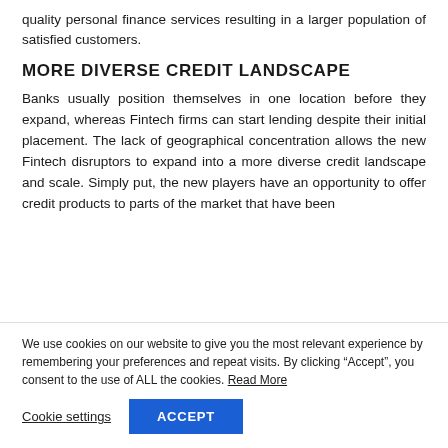quality personal finance services resulting in a larger population of satisfied customers.
MORE DIVERSE CREDIT LANDSCAPE
Banks usually position themselves in one location before they expand, whereas Fintech firms can start lending despite their initial placement. The lack of geographical concentration allows the new Fintech disruptors to expand into a more diverse credit landscape and scale. Simply put, the new players have an opportunity to offer credit products to parts of the market that have been
We use cookies on our website to give you the most relevant experience by remembering your preferences and repeat visits. By clicking “Accept”, you consent to the use of ALL the cookies. Read More
Cookie settings   ACCEPT